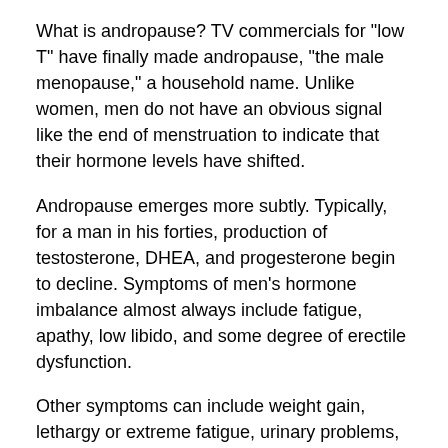What is andropause? TV commercials for "low T" have finally made andropause, "the male menopause," a household name. Unlike women, men do not have an obvious signal like the end of menstruation to indicate that their hormone levels have shifted.
Andropause emerges more subtly. Typically, for a man in his forties, production of testosterone, DHEA, and progesterone begin to decline. Symptoms of men's hormone imbalance almost always include fatigue, apathy, low libido, and some degree of erectile dysfunction.
Other symptoms can include weight gain, lethargy or extreme fatigue, urinary problems, decreased physical agility, decreased mental acuity, and depression.
Andropause is not a "new" condition--it was observed and described in medical literature in the 1940s. Awareness of andropause is now much more prevalent--